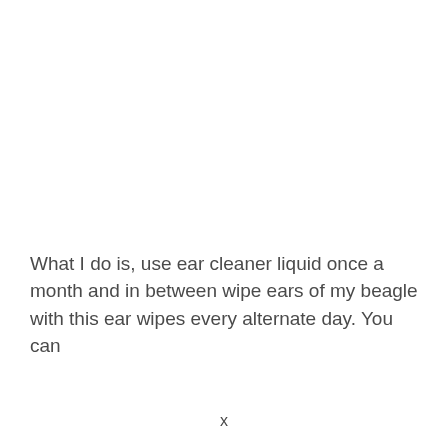What I do is, use ear cleaner liquid once a month and in between wipe ears of my beagle with this ear wipes every alternate day. You can
x